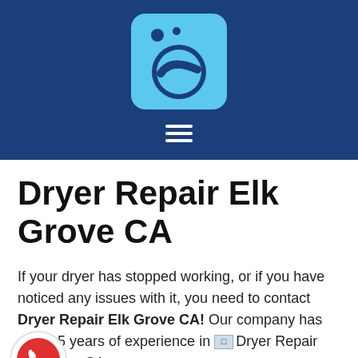[Figure (logo): Dark blue header bar with a light blue washing machine icon centered at top, and a white hamburger menu icon below it]
Dryer Repair Elk Grove CA
If your dryer has stopped working, or if you have noticed any issues with it, you need to contact Dryer Repair Elk Grove CA! Our company has over 15 years of experience in [image: Dryer Repair Elk Grove CA]